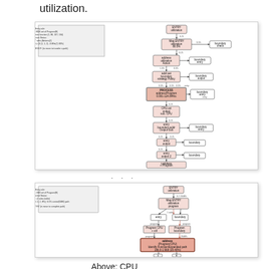utilization.
[Figure (flowchart): A flowchart diagram showing a decision tree/process flow for CPU utilization analysis. Contains multiple nodes with pink/salmon colored boxes connected by arrows, with a legend/info box in the upper left. Nodes represent various decision points and processes related to program utilization analysis. Final node shows 'Outlined Program utilization Counter 0.001-1.34 MHz'.]
· · ·
[Figure (flowchart): A second flowchart diagram showing a shorter decision tree/process flow. Contains pink/salmon colored boxes connected by arrows, with an info box in the upper left. The highlighted bottom node shows 'address (Program/CPU) Identify Function/Expanded path 186.0-1.968 (20-40%)'.]
Above: CPU